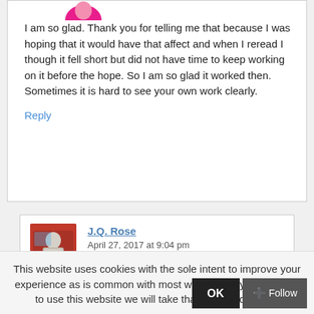[Figure (photo): Partial pink avatar/profile image visible at top]
I am so glad. Thank you for telling me that because I was hoping that it would have that affect and when I reread I though it fell short but did not have time to keep working on it before the hope. So I am so glad it worked then. Sometimes it is hard to see your own work clearly.
Reply
[Figure (photo): Profile photo of J.Q. Rose - person sitting in red car]
J.Q. Rose
April 27, 2017 at 9:04 pm
This website uses cookies with the sole intent to improve your experience as is common with most websites. If you continue to use this website we will take that as your consent.